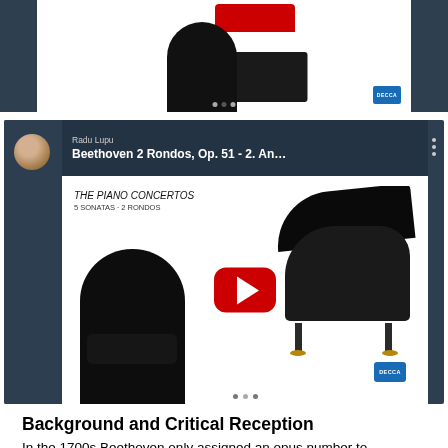[Figure (screenshot): Top strip showing a YouTube video thumbnail with dark side panels and a central album art image featuring a man in black seated in front of a grand piano with a red lid, along with a DECCA badge and navigation dots]
[Figure (screenshot): YouTube video player thumbnail for 'Beethoven 2 Rondos, Op. 51 - 2. An...' by Radu Lupu, showing album art with a bearded man in black seated before a grand piano, with a red YouTube play button overlay, DECCA badge, and navigation dots. Channel avatar visible on left.]
Background and Critical Reception
In the 1700s Beethoven only assigned an opus number to